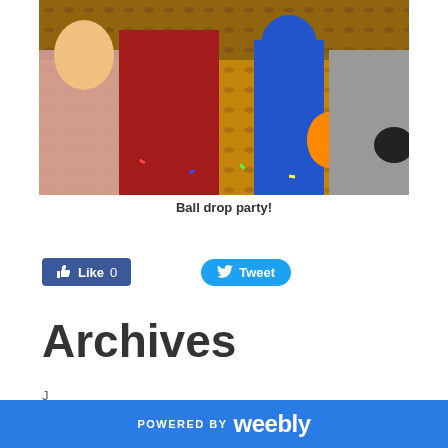[Figure (photo): A ball drop party with children and adults in costumes on a ballroom floor with confetti and balloons]
Ball drop party!
[Figure (other): Facebook Like button showing 0 likes and Twitter Tweet button]
Archives
POWERED BY weebly